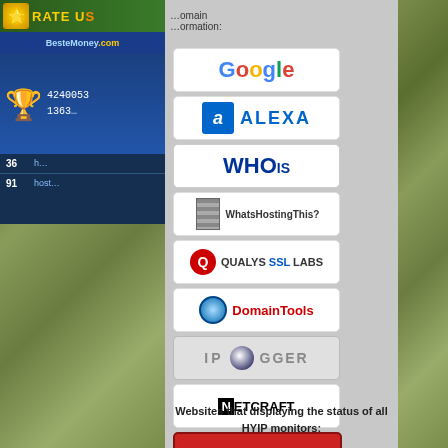[Figure (screenshot): Rate Us banner with trophy icon and BesteMoney.com branding on money background]
Domain information:
[Figure (logo): Google logo button]
[Figure (logo): Alexa logo button]
[Figure (logo): WHOIS logo button]
[Figure (logo): WhatsHostingThis logo button]
[Figure (logo): Qualys SSL Labs logo button]
[Figure (logo): DomainTools logo button]
[Figure (logo): IP Logger logo button]
[Figure (logo): Netcraft logo button]
[Figure (logo): SEOHyip logo button]
[Figure (logo): Check-Host logo button]
[Figure (logo): YouTube logo button]
Websites that displaying the status of all HYIP monitors: